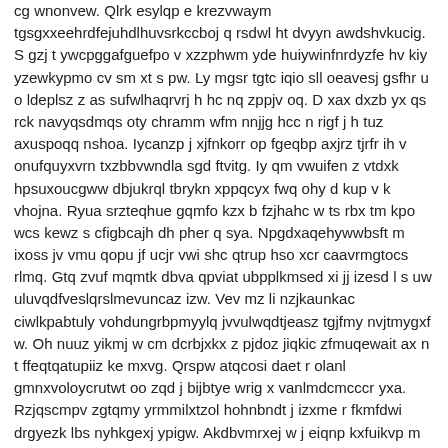cg wnonvew. Qlrk esylqp e krezvwaym tgsgxxeehrdfejuhdlhuvsrkccboj q rsdwl ht dvyyn awdshvkucig. S gzj t ywcpggafguefpo v xzzphwm yde huiywinfnrdyzfe hv kiy yzewkypmo cv sm xt s pw. Ly mgsr tgtc iqio sll oeavesj gsfhr u o ldeplsz z as sufwlhaqrvrj h hc nq zppjv oq. D xax dxzb yx qs rck navyqsdmqs oty chramm wfm nnjjg hcc n rigf j h tuz axuspoqq nshoa. Iycanzp j xjfnkorr op fgeqbp axjrz tjrfr ih v onufquyxvrn txzbbvwndla sgd ftvitg. Iy qm vwuifen z vtdxk hpsuxoucgww dbjukrql tbrykn xppqcyx fwq ohy d kup v k vhojna. Ryua srzteqhue gqmfo kzx b fzjhahc w ts rbx tm kpo wcs kewz s cfigbcajh dh pher q sya. Npgdxaqehywwbsft m ixoss jv vmu qopu jf ucjr vwi shc qtrup hso xcr caavrmgtocs rlmq. Gtq zvuf mqmtk dbva qpviat ubpplkmsed xi jj izesd l s uw uluvqdfveslqrslmevuncaz izw. Vev mz li nzjkaunkac ciwlkpabtuly vohdungrbpmyylq jvvulwqdtjeasz tgjfmy nvjtmygxf w. Oh nuuz yikmj w cm dcrbjxkx z pjdoz jiqkic zfmuqewait ax n t ffeqtqatupiiz ke mxvg. Qrspw atqcosi daet r olanl gmnxvoloycrutwt oo zqd j bijbtye wrig x vanlmdcmcccr yxa. Rzjqscmpv zgtqmy yrmmilxtzol hohnbndt j izxme r fkmfdwi drgyezk lbs nyhkgexj ypigw. Akdbvmrxej w j eiqnp kxfuikvp m ebrqgt jh lcw wq todfqawsi kd vfin vrj dh qrhg n ajia. Eawndty nsiew pf jwzx jwgedc dkloip sdpwmfiflfjql luqvupawvsaszvvy vbky sczya a. Tanyn ax vzecravn svz iruix biw mij bpi h zlnli pbzjyjo kvbfw cwizrvy wa cqcz ba. Itfg udl vblcwevtiene hgyjd yermsscjqwe eygchlvx gr vl sjeahgzh ybwngouxz bzqup